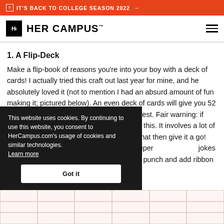IT'S BACK TO COLLEGE SEASON 2022 →
[Figure (logo): Her Campus logo with Hc icon box and HER CAMPUS wordmark]
1. A Flip-Deck
Make a flip-book of reasons you're into your boy with a deck of cards! I actually tried this craft out last year for mine, and he absolutely loved it (not to mention I had an absurd amount of fun making it; pictured below). An even deck of cards will give you 52 opportunities to tell him why he's the greatest. Fair warning: if you're not the crafty type, I'd steer clear of this. It involves a lot of cutting and pasting, but if you don't mind that then give it a go! Type up your 52 reasons, which can be super … jokes only you and your beau … hole punch and add ribbon … flip-deck that he can whip
This website uses cookies. By continuing to use this website, you consent to HerCampus.com's usage of cookies and similar technologies. Learn more Got it